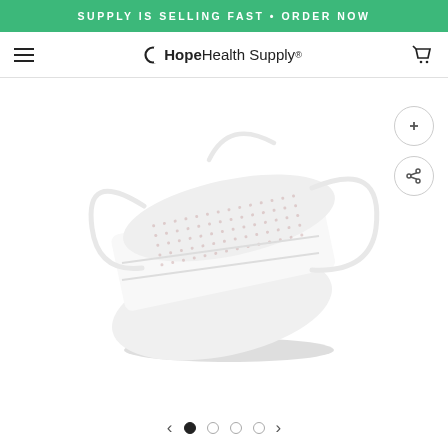SUPPLY IS SELLING FAST • ORDER NOW
[Figure (logo): Hope Health Supply logo with hamburger menu and cart icon in navigation bar]
[Figure (photo): White disposable face mask with ear loops, shown at an angle with a subtle shadow underneath, product photo on white background]
[Figure (other): Image carousel navigation with left arrow, 4 dots (first filled/active), right arrow, and zoom/share action buttons]